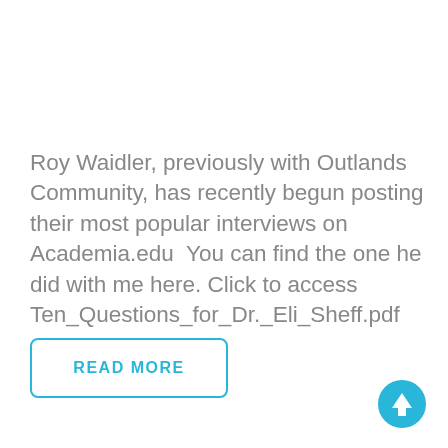Roy Waidler, previously with Outlands Community, has recently begun posting their most popular interviews on Academia.edu  You can find the one he did with me here. Click to access Ten_Questions_for_Dr._Eli_Sheff.pdf
READ MORE